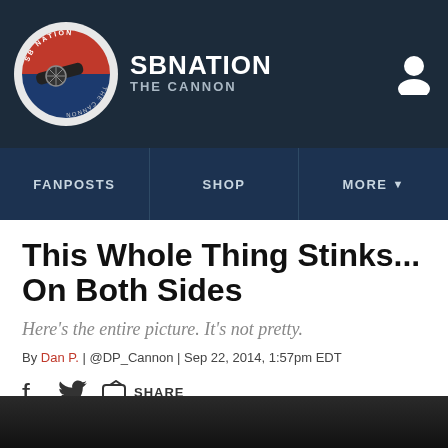SBNATION — THE CANNON
FANPOSTS | SHOP | MORE
This Whole Thing Stinks... On Both Sides
Here's the entire picture. It's not pretty.
By Dan P. | @DP_Cannon | Sep 22, 2014, 1:57pm EDT
SHARE